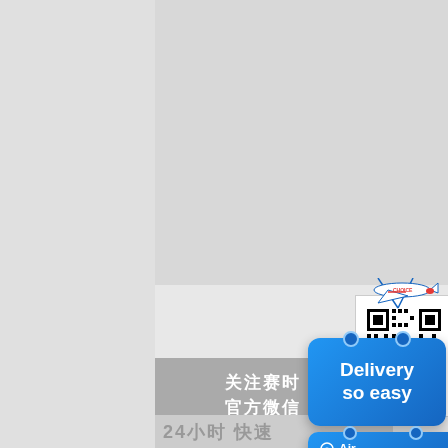[Figure (illustration): Large gray rectangle upper portion with lighter gray left panel background]
关注赛时
官方微信
[Figure (other): QR code for scanning, labeled CHOICE, with airplane illustration above]
[Figure (infographic): Blue badge reading 'Delivery so easy' with hanging tag design]
[Figure (infographic): Blue badge showing Air and Sea delivery options with icons]
24小时  快速